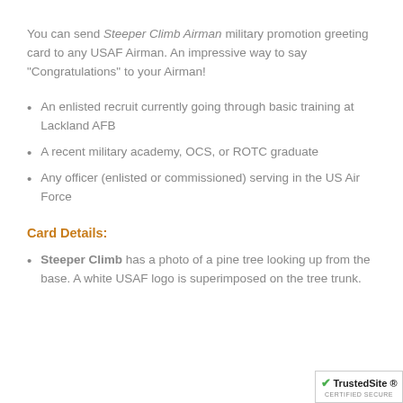You can send Steeper Climb Airman military promotion greeting card to any USAF Airman. An impressive way to say "Congratulations" to your Airman!
An enlisted recruit currently going through basic training at Lackland AFB
A recent military academy, OCS, or ROTC graduate
Any officer (enlisted or commissioned) serving in the US Air Force
Card Details:
Steeper Climb has a photo of a pine tree looking up from the base. A white USAF logo is superimposed on the tree trunk.